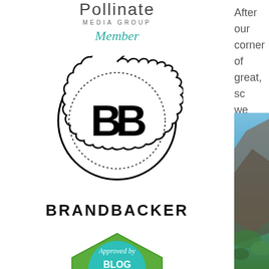[Figure (logo): Pollinate Media Group Member logo - stylized text with 'Member' in teal cursive below]
[Figure (logo): BrandBacker logo - BB letters in circle with scalloped edge, BRANDBACKER text below]
[Figure (logo): Blog Meets Brand 'Approved by' badge - green hexagon with teal circle, partial view]
After our corner of great, sc we parke sand dun
[Figure (photo): Partial photo of rocky mountain/cliff landscape with green scrubby vegetation]